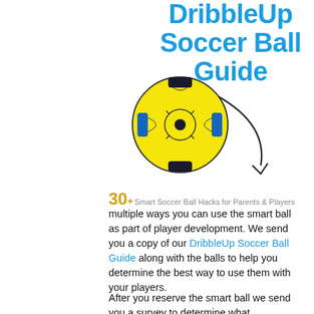DribbleUp Soccer Ball Guide
[Figure (illustration): Yellow and black DribbleUp smart soccer ball with a curved arrow pointing downward to the right]
30+ Smart Soccer Ball Hacks for Parents & Players
multiple ways you can use the smart ball as part of player development. We send you a copy of our DribbleUp Soccer Ball Guide along with the balls to help you determine the best way to use them with your players.
After you reserve the smart ball we send you a survey to determine what